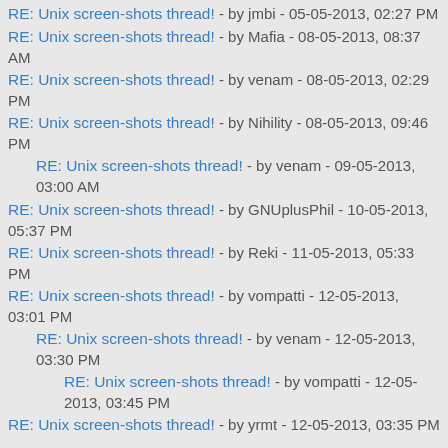RE: Unix screen-shots thread! - by jmbi - 05-05-2013, 02:27 PM
RE: Unix screen-shots thread! - by Mafia - 08-05-2013, 08:37 AM
RE: Unix screen-shots thread! - by venam - 08-05-2013, 02:29 PM
RE: Unix screen-shots thread! - by Nihility - 08-05-2013, 09:46 PM
RE: Unix screen-shots thread! - by venam - 09-05-2013, 03:00 AM
RE: Unix screen-shots thread! - by GNUplusPhil - 10-05-2013, 05:37 PM
RE: Unix screen-shots thread! - by Reki - 11-05-2013, 05:33 PM
RE: Unix screen-shots thread! - by vompatti - 12-05-2013, 03:01 PM
RE: Unix screen-shots thread! - by venam - 12-05-2013, 03:30 PM
RE: Unix screen-shots thread! - by vompatti - 12-05-2013, 03:45 PM
RE: Unix screen-shots thread! - by yrmt - 12-05-2013, 03:35 PM